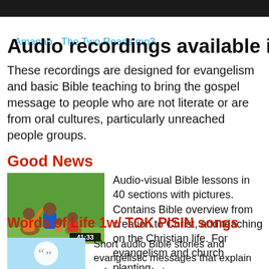Amanab - The Two Roads.mp3
Audio recordings available in Amanab
These recordings are designed for evangelism and basic Bible teaching to bring the gospel message to people who are not literate or are from oral cultures, particularly unreached people groups.
Good News
[Figure (illustration): Illustrated thumbnail showing people sitting in a group discussion scene, with a video duration overlay showing 41:33]
Audio-visual Bible lessons in 40 sections with pictures. Contains Bible overview from creation to Christ, and teaching on the Christian life. For evangelism and church planting.
Words of Life 1w/ TOK PISIN songs
[Figure (illustration): Light blue thumbnail with a speech bubble/quotation mark icon in grey]
Short audio Bible stories and evangelistic messages that explain salvation and give